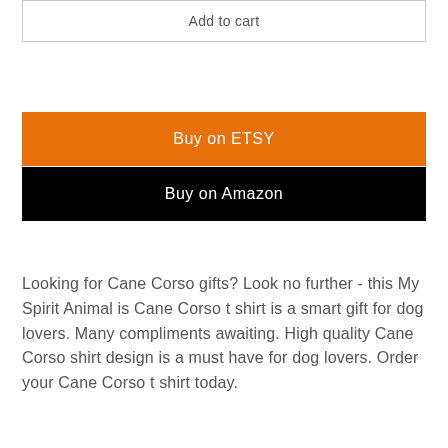Add to cart
Buy on ETSY
Buy on Amazon
Looking for Cane Corso gifts? Look no further - this My Spirit Animal is Cane Corso t shirt is a smart gift for dog lovers. Many compliments awaiting. High quality Cane Corso shirt design is a must have for dog lovers. Order your Cane Corso t shirt today.